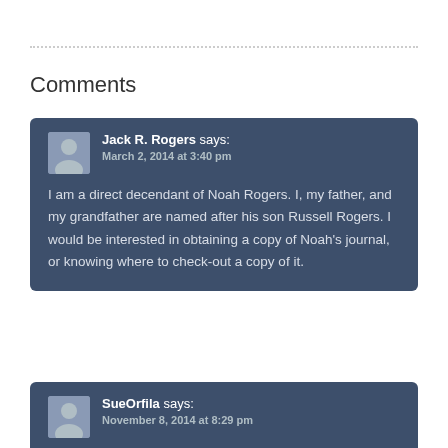Comments
Jack R. Rogers says: March 2, 2014 at 3:40 pm

I am a direct decendant of Noah Rogers. I, my father, and my grandfather are named after his son Russell Rogers. I would be interested in obtaining a copy of Noah's journal, or knowing where to check-out a copy of it.
SueOrfila says: November 8, 2014 at 8:29 pm